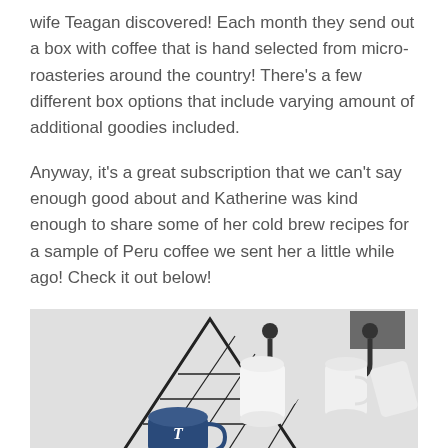wife Teagan discovered!  Each month they send out a box with coffee that is hand selected from micro-roasteries around the country!  There's a few different box options that include varying amount of additional goodies included.
Anyway, it's a great subscription that we can't say enough good about and Katherine was kind enough to share some of her cold brew recipes for a sample of Peru coffee we sent her a little while ago!  Check it out below!
[Figure (photo): A photo of coffee mugs and brewing equipment hung on a white wall. A dark triangular wire shelf holds a navy blue mug with a T on it. Several white mugs hang from black hooks, and a glass cold brew carafe sits below.]